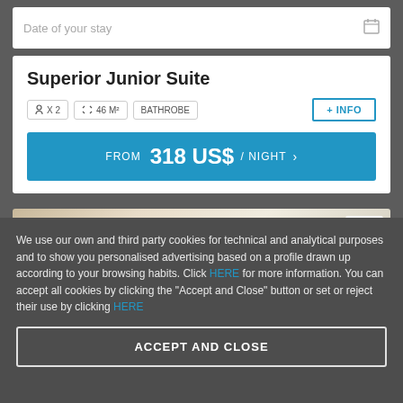Date of your stay
Superior Junior Suite
X 2  46 M²  BATHROBE
FROM 318 US$ /NIGHT
[Figure (photo): Hotel room interior photo thumbnail]
We use our own and third party cookies for technical and analytical purposes and to show you personalised advertising based on a profile drawn up according to your browsing habits. Click HERE for more information. You can accept all cookies by clicking the "Accept and Close" button or set or reject their use by clicking HERE
ACCEPT AND CLOSE